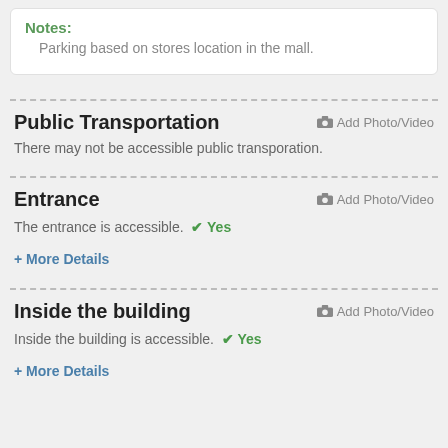Notes:
Parking based on stores location in the mall.
Public Transportation
Add Photo/Video
There may not be accessible public transporation.
Entrance
Add Photo/Video
The entrance is accessible.  ✔ Yes
+ More Details
Inside the building
Add Photo/Video
Inside the building is accessible.  ✔ Yes
+ More Details